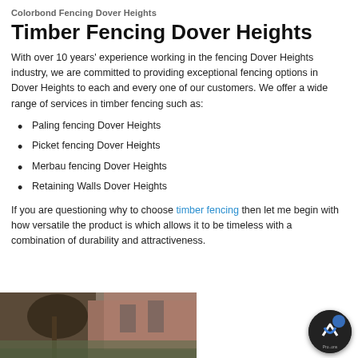Colorbond Fencing Dover Heights
Timber Fencing Dover Heights
With over 10 years' experience working in the fencing Dover Heights industry, we are committed to providing exceptional fencing options in Dover Heights to each and every one of our customers. We offer a wide range of services in timber fencing such as:
Paling fencing Dover Heights
Picket fencing Dover Heights
Merbau fencing Dover Heights
Retaining Walls Dover Heights
If you are questioning why to choose timber fencing then let me begin with how versatile the product is which allows it to be timeless with a combination of durability and attractiveness.
[Figure (photo): Exterior photo of a brick building with a tree in the foreground]